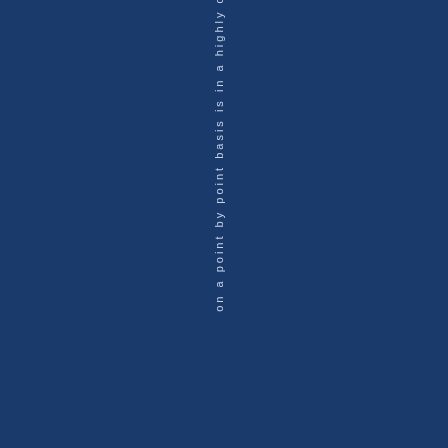on a point by point basis is in a highly c